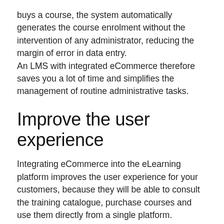buys a course, the system automatically generates the course enrolment without the intervention of any administrator, reducing the margin of error in data entry.
An LMS with integrated eCommerce therefore saves you a lot of time and simplifies the management of routine administrative tasks.
Improve the user experience
Integrating eCommerce into the eLearning platform improves the user experience for your customers, because they will be able to consult the training catalogue, purchase courses and use them directly from a single platform.
This means that when they buy a course, they will be automatically enrolled and will be able to start using it